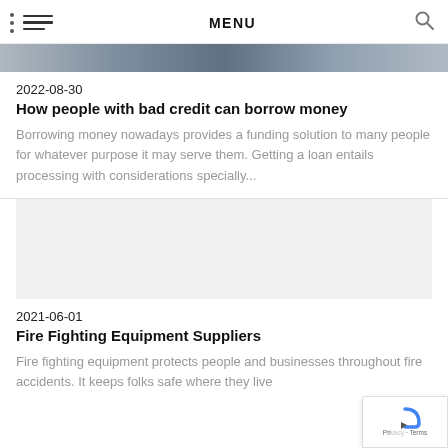MENU
[Figure (photo): Partial hero image at top of page, cropped photograph]
2022-08-30
How people with bad credit can borrow money
Borrowing money nowadays provides a funding solution to many people for whatever purpose it may serve them. Getting a loan entails processing with considerations specially...
[Figure (photo): Gray placeholder image for second article]
2021-06-01
Fire Fighting Equipment Suppliers
Fire fighting equipment protects people and businesses throughout fire accidents. It keeps folks safe where they live